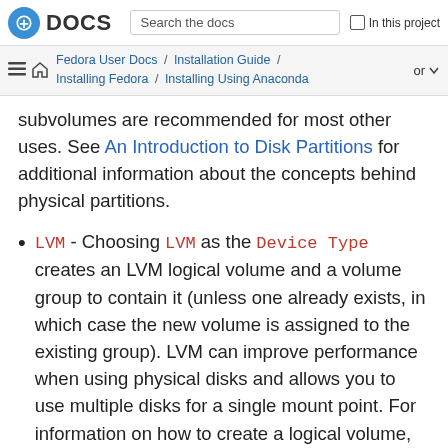Fedora DOCS — Search the docs — In this project
Fedora User Docs / Installation Guide / Installing Fedora / Installing Using Anaconda — or
subvolumes are recommended for most other uses. See An Introduction to Disk Partitions for additional information about the concepts behind physical partitions.
LVM - Choosing LVM as the Device Type creates an LVM logical volume and a volume group to contain it (unless one already exists, in which case the new volume is assigned to the existing group). LVM can improve performance when using physical disks and allows you to use multiple disks for a single mount point. For information on how to create a logical volume,